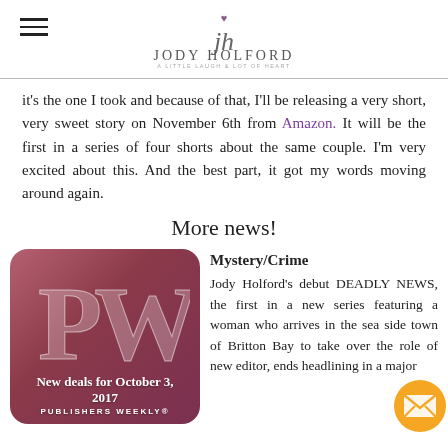Jody Holford
it's the one I took and because of that, I'll be releasing a very short, very sweet story on November 6th from Amazon. It will be the first in a series of four shorts about the same couple. I'm very excited about this. And the best part, it got my words moving around again.
More news!
[Figure (photo): Publishers Weekly logo image with text 'New deals for October 3, 2017' and 'PUBLISHERS WEEKLY®' on a dark red/mauve rounded square background]
Mystery/Crime
Jody Holford's debut DEADLY NEWS, the first in a new series featuring a woman who arrives in the sea side town of Britton Bay to take over the role of new editor, ends headlining in a major